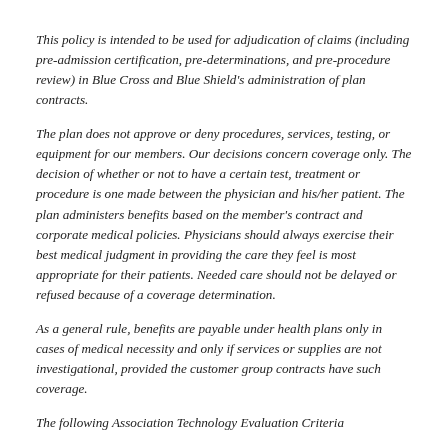This policy is intended to be used for adjudication of claims (including pre-admission certification, pre-determinations, and pre-procedure review) in Blue Cross and Blue Shield's administration of plan contracts.
The plan does not approve or deny procedures, services, testing, or equipment for our members. Our decisions concern coverage only. The decision of whether or not to have a certain test, treatment or procedure is one made between the physician and his/her patient. The plan administers benefits based on the member's contract and corporate medical policies. Physicians should always exercise their best medical judgment in providing the care they feel is most appropriate for their patients. Needed care should not be delayed or refused because of a coverage determination.
As a general rule, benefits are payable under health plans only in cases of medical necessity and only if services or supplies are not investigational, provided the customer group contracts have such coverage.
The following Association Technology Evaluation Criteria